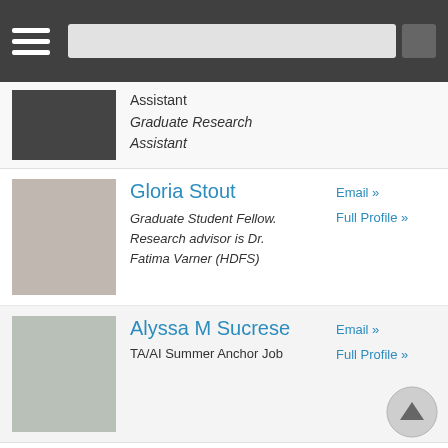[Figure (other): Dark top navigation bar with hamburger menu icon and search bar]
Assistant
Graduate Research Assistant
[Figure (photo): Photo of Gloria Stout]
Gloria Stout
Email »
Full Profile »
Graduate Student Fellow. Research advisor is Dr. Fatima Varner (HDFS)
[Figure (photo): Photo of Alyssa M Sucrese]
Alyssa M Sucrese
Email »
Full Profile »
TA/AI Summer Anchor Job
[Figure (photo): Photo of Hin Wing Tse]
Hin Wing Tse
Email »
Full Profile »
TA/AI Summer Anchor Job
Advisor: Dr. Su Yeong Kim
[Figure (photo): Photo of Fatima A Varner]
Fatima A Varner
512-471-8580
SEA 2.322D
Assistant Professor